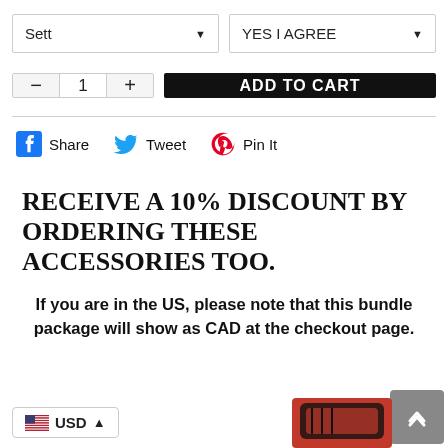Sett [dropdown]
YES I AGREE [dropdown]
− 1 + ADD TO CART
Share  Tweet  Pin It
RECEIVE A 10% DISCOUNT BY ORDERING THESE ACCESSORIES TOO.
If you are in the US, please note that this bundle package will show as CAD at the checkout page.
USD